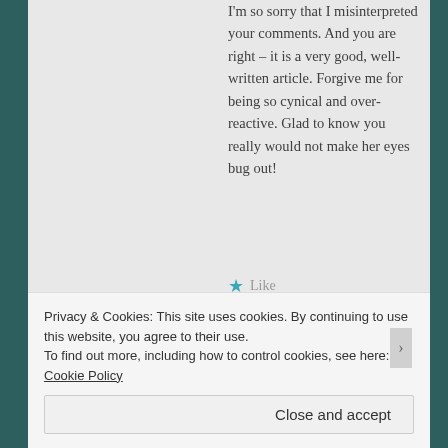I'm so sorry that I misinterpreted your comments. And you are right – it is a very good, well-written article. Forgive me for being so cynical and over-reactive. Glad to know you really would not make her eyes bug out!
★ Like
Jackie says: April 5, 2015 at 9:48 am
Amen, Glenda! That is what I have been saying for years…it
Privacy & Cookies: This site uses cookies. By continuing to use this website, you agree to their use.
To find out more, including how to control cookies, see here: Cookie Policy
Close and accept